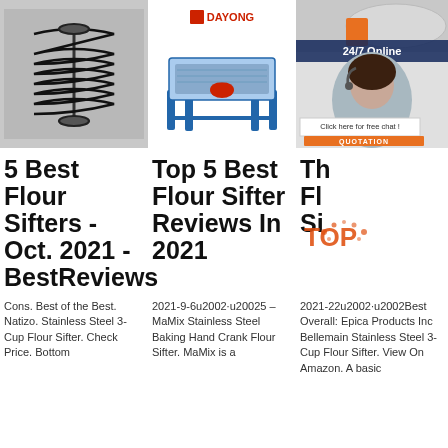[Figure (photo): Photo of a metal spring/screw conveyor component on gray background]
[Figure (photo): Industrial flour sifter machine (blue/red) with Dayong brand logo above]
[Figure (photo): Industrial machine with 24/7 Online banner, customer service agent photo, Click here for free chat text, and QUOTATION orange button]
5 Best Flour Sifters - Oct. 2021 - BestReviews
Top 5 Best Flour Sifter Reviews In 2021
Th Fl Si
Cons. Best of the Best. Natizo. Stainless Steel 3-Cup Flour Sifter. Check Price. Bottom
2021-9-6u2002·u20025 – MaMix Stainless Steel Baking Hand Crank Flour Sifter. MaMix is a
2021-22u2002·u2002Best Overall: Epica Products Inc Bellemain Stainless Steel 3-Cup Flour Sifter. View On Amazon. A basic